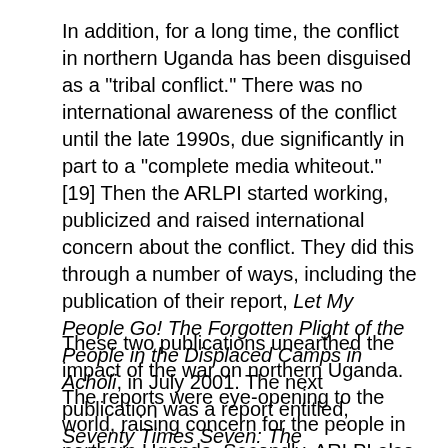In addition, for a long time, the conflict in northern Uganda has been disguised as a "tribal conflict." There was no international awareness of the conflict until the late 1990s, due significantly in part to a "complete media whiteout." [19] Then the ARLPI started working, publicized and raised international concern about the conflict. They did this through a number of ways, including the publication of their report, Let My People Go! The Forgotten Plight of the People in the Displaced Camps in Acholi, in July 2001. The next publication was a report entitled, Seventy Times Seven: The Implementation and Impact of the Amnesty Law in Acholi (May 2002).
These two publications unearthed the impact of the war on northern Uganda. The reports were eye-opening to the world, raising concern for the people in northern Uganda. Secondly, ARLPI also publicized the conflict of northern Uganda by bringing to light the plight of the